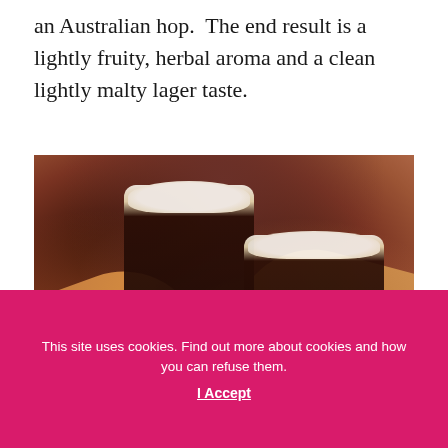an Australian hop.  The end result is a lightly fruity, herbal aroma and a clean lightly malty lager taste.
[Figure (photo): Two dark beer mugs clinking together, held by two people's hands and arms. The mugs contain dark beer with white foam heads. One mug has a circular brewery logo. Warm brown background tones with bokeh effect.]
This site uses cookies. Find out more about cookies and how you can refuse them.
I Accept